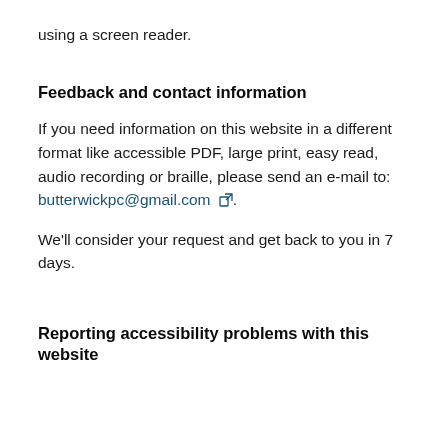using a screen reader.
Feedback and contact information
If you need information on this website in a different format like accessible PDF, large print, easy read, audio recording or braille, please send an e-mail to: butterwickpc@gmail.com.
We'll consider your request and get back to you in 7 days.
Reporting accessibility problems with this website